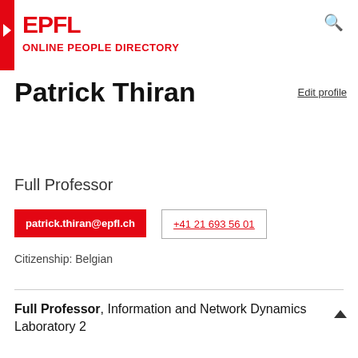EPFL ONLINE PEOPLE DIRECTORY
Patrick Thiran
Edit profile
Full Professor
patrick.thiran@epfl.ch
+41 21 693 56 01
Citizenship: Belgian
Full Professor, Information and Network Dynamics Laboratory 2